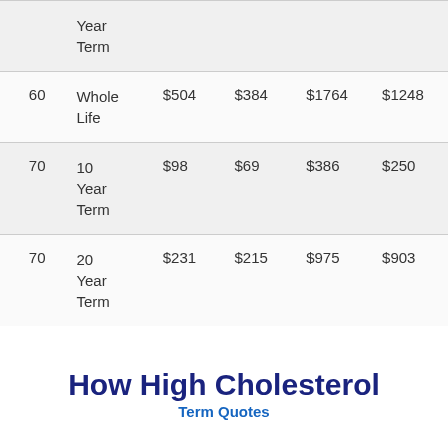|  | Year
Term |  |  |  |  |
| 60 | Whole
Life | $504 | $384 | $1764 | $1248 |
| 70 | 10
Year
Term | $98 | $69 | $386 | $250 |
| 70 | 20
Year
Term | $231 | $215 | $975 | $903 |
How High Cholesterol
Term Quotes